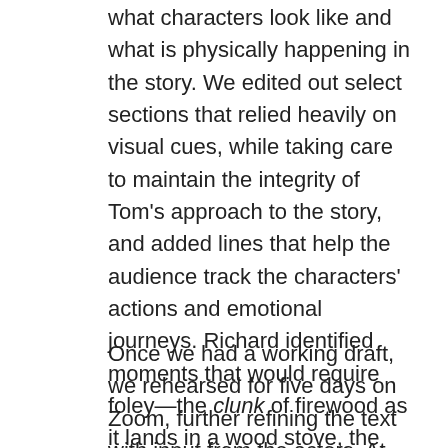what characters look like and what is physically happening in the story. We edited out select sections that relied heavily on visual cues, while taking care to maintain the integrity of Tom's approach to the story, and added lines that help the audience track the characters' actions and emotional journeys. Richard identified moments that would require foley—the clunk of firewood as it lands in a wood stove, the sound of a door opening, and of course, the creaks, moans, winds and shimmers that let us know we are in the presence of ghosts.
Once we had a working draft, we rehearsed for five days on Zoom, further refining the text with input from the actors. At the end of that week, the cast did a final read-through on Zoom. We